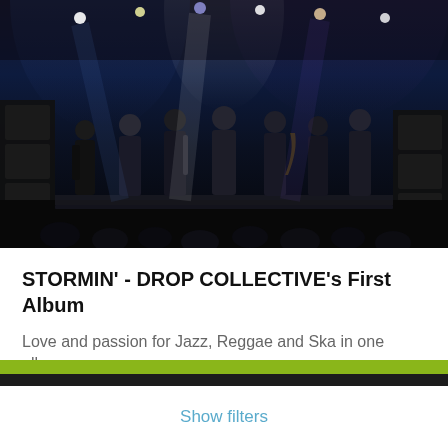[Figure (photo): Concert photo showing a band performing on stage with multiple musicians, dark background with stage lighting]
STORMIN' - DROP COLLECTIVE's First Album
Love and passion for Jazz, Reggae and Ska in one album.
Reggae and Ska / Jazz
We use our own cookies to provide website functionality and third party cookies to analyze traffic and serve targeted advertisements based on your surfing habits. You can accept all cookies by clicking "Accept" or obtain more information and set your preferences here.
Accept
Show filters